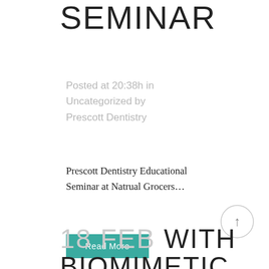SEMINAR
Posted at 20:38h in Uncategorized by Prescott Dentistry
Prescott Dentistry Educational Seminar at Natrual Grocers…
Read More
18 FEB WITH BIOMIMETIC